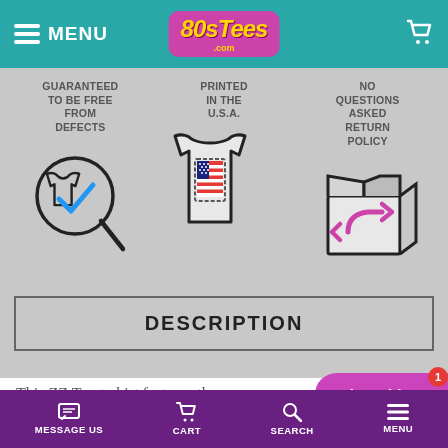MENU | 80sTees.com | [cart icon]
GUARANTEED TO BE FREE FROM DEFECTS
[Figure (illustration): T-shirt with magnifying glass and blue checkmark icon]
PRINTED IN THE U.S.A.
[Figure (illustration): T-shirt with American flag print icon]
NO QUESTIONS ASKED RETURN POLICY
[Figure (illustration): Open box with return arrow icon]
DESCRIPTION
This ZZ Top t-shirt features the
MESSAGE US | CART | SEARCH | MENU